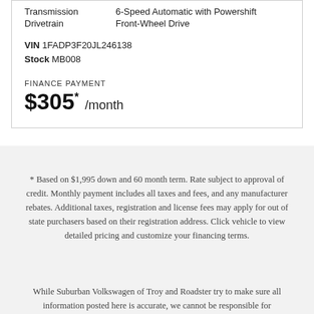Transmission  6-Speed Automatic with Powershift
Drivetrain  Front-Wheel Drive
VIN 1FADP3F20JL246138
Stock MB008
FINANCE PAYMENT
$305* /month
* Based on $1,995 down and 60 month term. Rate subject to approval of credit. Monthly payment includes all taxes and fees, and any manufacturer rebates. Additional taxes, registration and license fees may apply for out of state purchasers based on their registration address. Click vehicle to view detailed pricing and customize your financing terms.
While Suburban Volkswagen of Troy and Roadster try to make sure all information posted here is accurate, we cannot be responsible for